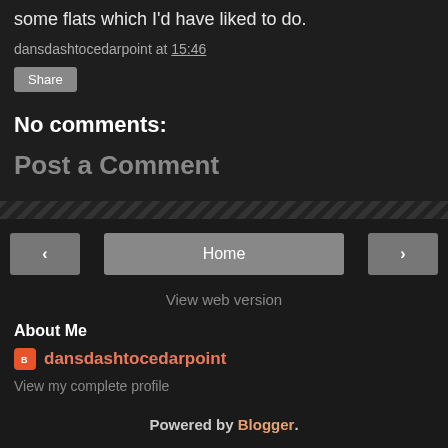some flats which I'd have liked to do.
dansdashtocedarpoint at 15:46
Share
No comments:
Post a Comment
‹  Home  ›
View web version
About Me
dansdashtocedarpoint
View my complete profile
Powered by Blogger.